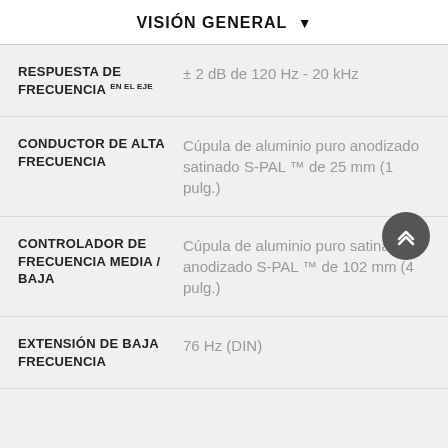VISIÓN GENERAL
| Especificación | Valor |
| --- | --- |
| RESPUESTA DE FRECUENCIA EN EL EJE | ± 2 dB de 120 Hz - 20 kHz |
| CONDUCTOR DE ALTA FRECUENCIA | Cúpula de aluminio puro anodizado satinado S-PAL ™ de 25 mm (1 pulg.) |
| CONTROLADOR DE FRECUENCIA MEDIA / BAJA | Cúpula de aluminio puro satinado anodizado S-PAL ™ de 102 mm (4 pulg.) |
| EXTENSIÓN DE BAJA FRECUENCIA | 76 Hz (DIN) |